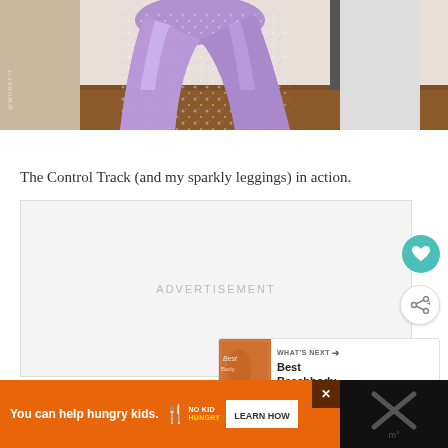[Figure (photo): Person wearing sparkly purple/lavender leggings, photographed from waist down, standing on hardwood floor near a white door. The leggings have a glittery, metallic texture.]
The Control Track (and my sparkly leggings) in action.
[Figure (other): Advertisement placeholder box with text ADVERTISEMENT]
[Figure (other): What's Next panel showing thumbnail and text 'Best Beachbody...']
[Figure (other): Bottom advertisement bar: orange background with text 'You can help hungry kids.' with No Kid Hungry logo and LEARN HOW button]